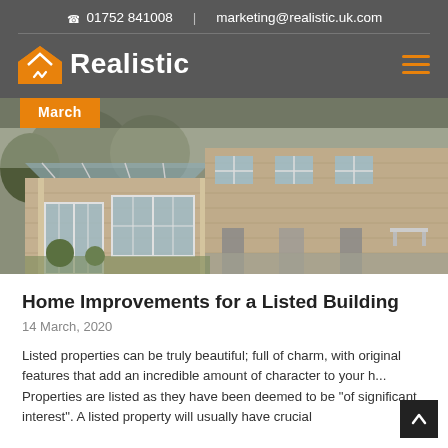📞 01752 841008  |  marketing@realistic.uk.com
[Figure (logo): Realistic company logo with orange house checkmark icon and white bold text 'Realistic' on dark grey background, with orange hamburger menu icon on right]
[Figure (photo): Photograph of stone-built UK terrace houses with a modern orangery/extension with glass roof panels and white uPVC windows and doors]
Home Improvements for a Listed Building
14 March, 2020
Listed properties can be truly beautiful; full of charm, with original features that add an incredible amount of character to your h... Properties are listed as they have been deemed to be "of significant interest". A listed property will usually have crucial